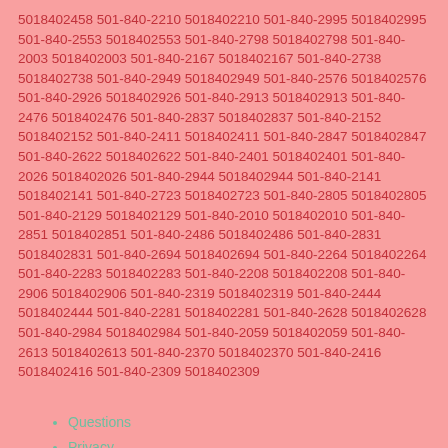5018402458 501-840-2210 5018402210 501-840-2995 5018402995 501-840-2553 5018402553 501-840-2798 5018402798 501-840-2003 5018402003 501-840-2167 5018402167 501-840-2738 5018402738 501-840-2949 5018402949 501-840-2576 5018402576 501-840-2926 5018402926 501-840-2913 5018402913 501-840-2476 5018402476 501-840-2837 5018402837 501-840-2152 5018402152 501-840-2411 5018402411 501-840-2847 5018402847 501-840-2622 5018402622 501-840-2401 5018402401 501-840-2026 5018402026 501-840-2944 5018402944 501-840-2141 5018402141 501-840-2723 5018402723 501-840-2805 5018402805 501-840-2129 5018402129 501-840-2010 5018402010 501-840-2851 5018402851 501-840-2486 5018402486 501-840-2831 5018402831 501-840-2694 5018402694 501-840-2264 5018402264 501-840-2283 5018402283 501-840-2208 5018402208 501-840-2906 5018402906 501-840-2319 5018402319 501-840-2444 5018402444 501-840-2281 5018402281 501-840-2628 5018402628 501-840-2984 5018402984 501-840-2059 5018402059 501-840-2613 5018402613 501-840-2370 5018402370 501-840-2416 5018402416 501-840-2309 5018402309
Questions
Privacy
Do not sell my info (CA residents)
Terms